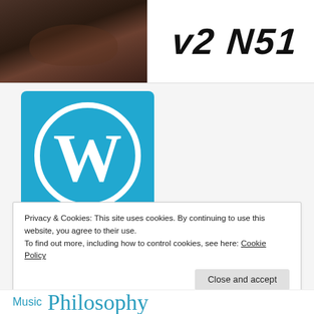[Figure (photo): Photo of a black and tan dog (likely a Doberman or similar breed) in the upper-left thumbnail]
[Figure (logo): Handwritten-style logo text reading 'v2 N51' or similar stylized text on white background]
[Figure (logo): WordPress logo: white 'W' inside a circle on a blue square background]
Privacy & Cookies: This site uses cookies. By continuing to use this website, you agree to their use.
To find out more, including how to control cookies, see here: Cookie Policy
Close and accept
Music Philosophy